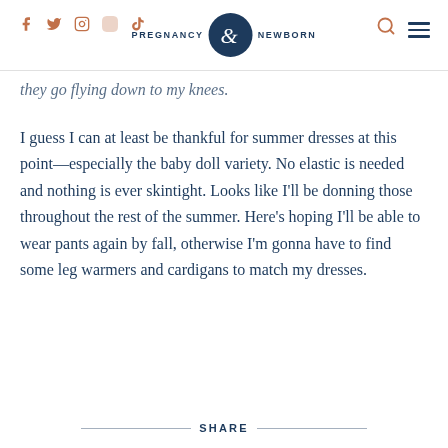PREGNANCY & NEWBORN
they go flying down to my knees.
I guess I can at least be thankful for summer dresses at this point—especially the baby doll variety. No elastic is needed and nothing is ever skintight. Looks like I'll be donning those throughout the rest of the summer. Here's hoping I'll be able to wear pants again by fall, otherwise I'm gonna have to find some leg warmers and cardigans to match my dresses.
SHARE